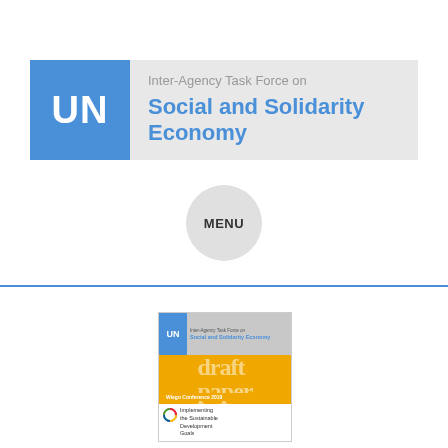[Figure (logo): UN Inter-Agency Task Force on Social and Solidarity Economy banner header with blue UN box and gray background with title text]
MENU
[Figure (illustration): Thumbnail of a draft paper document titled 'Implementing the Sustainable Development Goals' from the UN Inter-Agency Task Force on Social and Solidarity Economy, Wiego Conference 2019, with orange and blue colors]